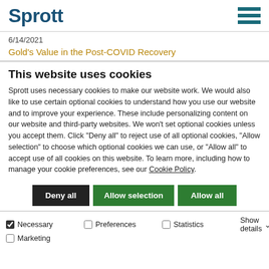[Figure (logo): Sprott logo with hamburger menu icon]
6/14/2021
Gold's Value in the Post-COVID Recovery
This website uses cookies
Sprott uses necessary cookies to make our website work. We would also like to use certain optional cookies to understand how you use our website and to improve your experience. These include personalizing content on our website and third-party websites. We won't set optional cookies unless you accept them. Click "Deny all" to reject use of all optional cookies, "Allow selection" to choose which optional cookies we can use, or "Allow all" to accept use of all cookies on this website. To learn more, including how to manage your cookie preferences, see our Cookie Policy.
Deny all | Allow selection | Allow all
Necessary | Preferences | Statistics | Marketing | Show details